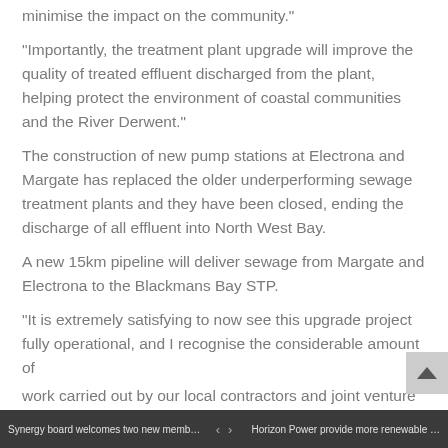minimise the impact on the community.”
“Importantly, the treatment plant upgrade will improve the quality of treated effluent discharged from the plant, helping protect the environment of coastal communities and the River Derwent.”
The construction of new pump stations at Electrona and Margate has replaced the older underperforming sewage treatment plants and they have been closed, ending the discharge of all effluent into North West Bay.
A new 15km pipeline will deliver sewage from Margate and Electrona to the Blackmans Bay STP.
“It is extremely satisfying to now see this upgrade project fully operational, and I recognise the considerable amount of
work carried out by our local contractors and joint venture  Synergy board welcomes two new memb...  ‹  ›  Horizon Power provide more renewable ...  partners Acciona and BMD (BAJV).” Mr Brewster said.